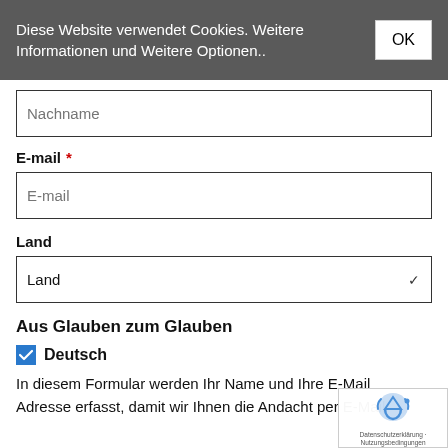Diese Website verwendet Cookies. Weitere Informationen und Weitere Optionen..
OK
Nachname
E-mail *
E-mail
Land
Land
Aus Glauben zum Glauben
Deutsch
In diesem Formular werden Ihr Name und Ihre E-Mail Adresse erfasst, damit wir Ihnen die Andacht per E-Mail